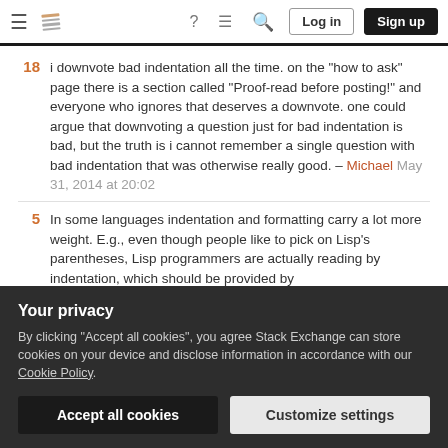Stack Exchange navigation bar with hamburger menu, logo, help, chat, search icons, Log in and Sign up buttons
18  i downvote bad indentation all the time. on the "how to ask" page there is a section called "Proof-read before posting!" and everyone who ignores that deserves a downvote. one could argue that downvoting a question just for bad indentation is bad, but the truth is i cannot remember a single question with bad indentation that was otherwise really good. – Michael May 31, 2014 at 20:02
5  In some languages indentation and formatting carry a lot more weight. E.g., even though people like to pick on Lisp's parentheses, Lisp programmers are actually reading by indentation, which should be provided by
Your privacy
By clicking "Accept all cookies", you agree Stack Exchange can store cookies on your device and disclose information in accordance with our Cookie Policy.
Accept all cookies  Customize settings
2014 at 10:59